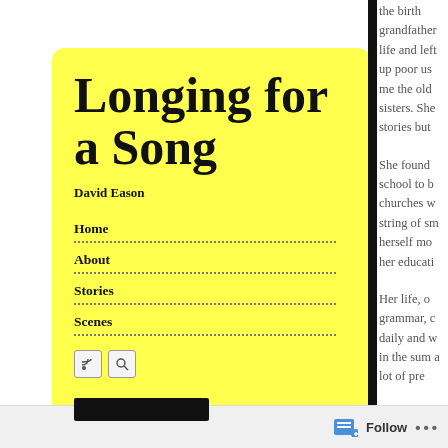Longing for a Song
David Eason
Home
About
Stories
Scenes
grandfather life and left up poor us me the old sisters. She stories but
She found school to b churches w string of sm herself mo her educati
Her life, o grammar, c daily and w in the sum a lot of pre
Follow ...